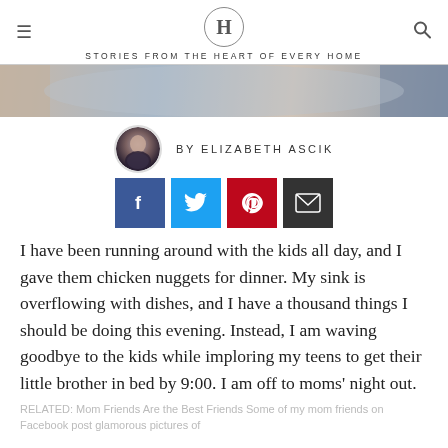H — STORIES FROM THE HEART OF EVERY HOME
[Figure (photo): Cropped photo of people sitting together, partial view of arms and clothing]
BY ELIZABETH ASCIK
[Figure (infographic): Social sharing buttons: Facebook, Twitter, Pinterest, Email]
I have been running around with the kids all day, and I gave them chicken nuggets for dinner. My sink is overflowing with dishes, and I have a thousand things I should be doing this evening. Instead, I am waving goodbye to the kids while imploring my teens to get their little brother in bed by 9:00. I am off to moms' night out.
RELATED: Mom Friends Are the Best Friends Some of my mom friends on Facebook post glamorous pictures of